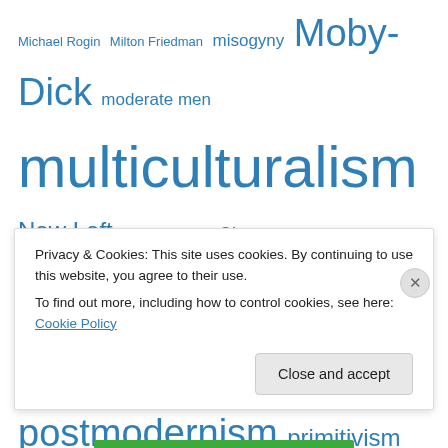Michael Rogin Milton Friedman misogyny Moby-Dick moderate men multiculturalism New Left noam chomsky Obamacare Pacifica Radio Paradise Lost Picasso Pierre or the Ambiguities Pierrot political correctness Popular Front populism postmodernism primitivism progressivism racism Ralph Bunche sadomasochism Sigmund Freud social democracy statism Talcott Parsons the big lie Thomas Jefferson totalitarianism Woodrow Wilson
Blogroll
Privacy & Cookies: This site uses cookies. By continuing to use this website, you agree to their use. To find out more, including how to control cookies, see here: Cookie Policy